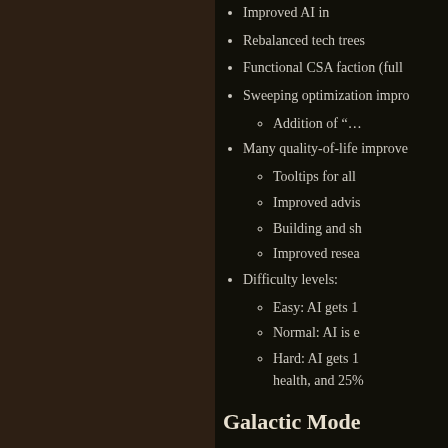Improved AI in…
Rebalanced tech trees
Functional CSA faction (full…
Sweeping optimization impro…
Addition of “…
Many quality-of-life improve…
Tooltips for all
Improved advis…
Building and sh…
Improved resea…
Difficulty levels:
Easy: AI gets 1…
Normal: AI is e…
Hard: AI gets 1… health, and 25%…
Galactic Mode